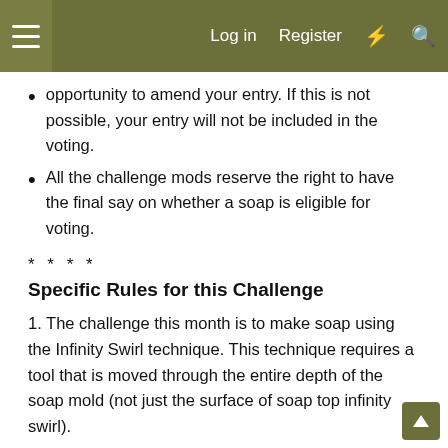Log in  Register
opportunity to amend your entry. If this is not possible, your entry will not be included in the voting.
All the challenge mods reserve the right to have the final say on whether a soap is eligible for voting.
* * * *
Specific Rules for this Challenge
1. The challenge this month is to make soap using the Infinity Swirl technique. This technique requires a tool that is moved through the entire depth of the soap mold (not just the surface of soap top infinity swirl).
2. You may use any method you choose to make your soap, but I suggest cold process (CP). I believe it is possible with a fluid hot process method, but I have not tried it myself. If you use this method and so desire